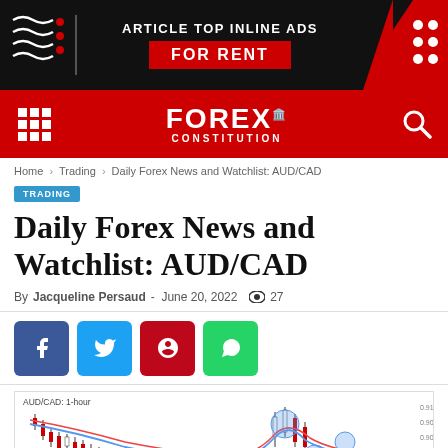[Figure (screenshot): Ad banner: black background with wavy white lines on left, 'ARTICLE TOP INLINE ADS FOR RENT' text in center, red diagonal section with white dots on right]
[Figure (screenshot): Forex Constitution website navigation bar with red background, grid menu icon, FOREX CONSTITUTION logo, and search icon]
Home › Trading › Daily Forex News and Watchlist: AUD/CAD
TRADING
Daily Forex News and Watchlist: AUD/CAD
By Jacqueline Persaud - June 20, 2022  👁 27
[Figure (screenshot): Social media share buttons: Facebook (blue), Twitter (light blue), Pinterest (red), WhatsApp (green)]
[Figure (continuous-plot): AUD/CAD 1-hour candlestick chart showing price action with moving average lines (blue and red). Chart shows downward trend then spike up on right side.]